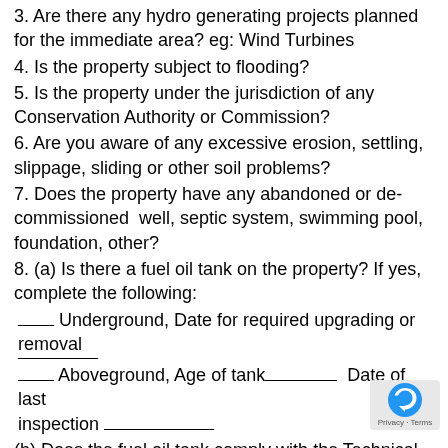3. Are there any hydro generating projects planned for the immediate area? eg: Wind Turbines
4. Is the property subject to flooding?
5. Is the property under the jurisdiction of any Conservation Authority or Commission?
6. Are you aware of any excessive erosion, settling, slippage, sliding or other soil problems?
7. Does the property have any abandoned or de-commissioned  well, septic system, swimming pool, foundation, other?
8. (a) Is there a fuel oil tank on the property? If yes, complete the following:
___ Underground, Date for required upgrading or removal ________
___ Aboveground, Age of tank______ Date of last inspection _____________
(b) Does the fuel oil tank comply with the Technical Standards and Safety Authority requirements and a other requirements for fuel to be delivered?
9. Has the use of the property ever been for the gro... of... manufacture of illegal substances?